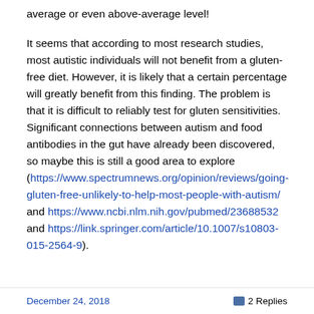average or even above-average level!
It seems that according to most research studies, most autistic individuals will not benefit from a gluten-free diet. However, it is likely that a certain percentage will greatly benefit from this finding. The problem is that it is difficult to reliably test for gluten sensitivities. Significant connections between autism and food antibodies in the gut have already been discovered, so maybe this is still a good area to explore (https://www.spectrumnews.org/opinion/reviews/going-gluten-free-unlikely-to-help-most-people-with-autism/ and https://www.ncbi.nlm.nih.gov/pubmed/23688532 and https://link.springer.com/article/10.1007/s10803-015-2564-9).
December 24, 2018   2 Replies